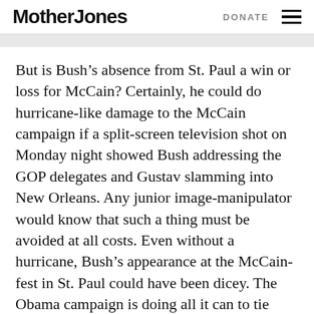Mother Jones | DONATE
But is Bush's absence from St. Paul a win or loss for McCain? Certainly, he could do hurricane-like damage to the McCain campaign if a split-screen television shot on Monday night showed Bush addressing the GOP delegates and Gustav slamming into New Orleans. Any junior image-manipulator would know that such a thing must be avoided at all costs. Even without a hurricane, Bush's appearance at the McCain-fest in St. Paul could have been dicey. The Obama campaign is doing all it can to tie McCain to the most unpopular president in decades. No doubt, some of convention planners would have liked from the start to have a Bush-less program…